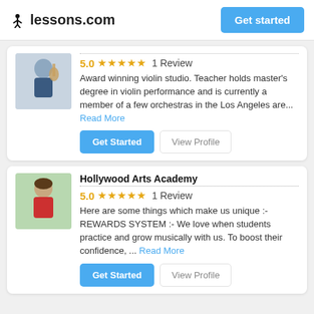lessons.com  Get started
[Figure (photo): Photo of a woman holding a violin]
5.0 ★★★★★  1 Review
Award winning violin studio. Teacher holds master's degree in violin performance and is currently a member of a few orchestras in the Los Angeles are... Read More
Get Started  View Profile
Hollywood Arts Academy
[Figure (photo): Photo of a woman in a red jacket]
5.0 ★★★★★  1 Review
Here are some things which make us unique :- REWARDS SYSTEM :- We love when students practice and grow musically with us. To boost their confidence, ... Read More
Get Started  View Profile